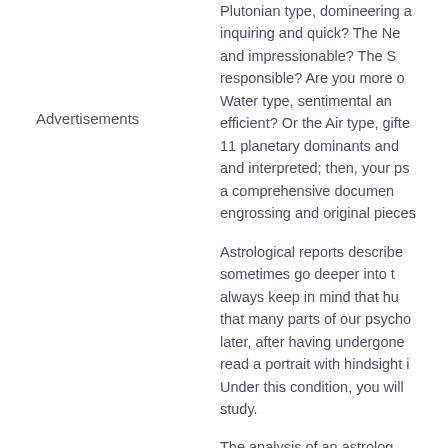Advertisements
Plutonian type, domineering a... inquiring and quick? The Ne... and impressionable? The S... responsible? Are you more o... Water type, sentimental an... efficient? Or the Air type, gifte... 11 planetary dominants and ... and interpreted; then, your ps... a comprehensive documen... engrossing and original pieces
Astrological reports describe... sometimes go deeper into t... always keep in mind that hu... that many parts of our psycho... later, after having undergone ... read a portrait with hindsight i... Under this condition, you will ... study.
The analysis of an astrolo...